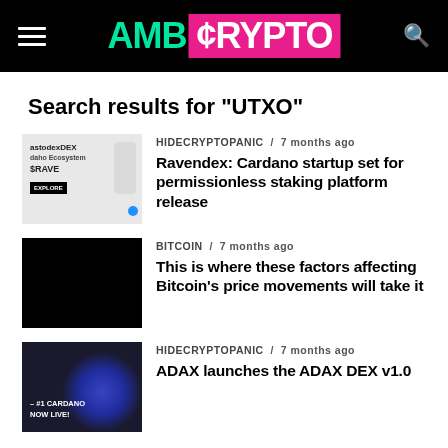AMB CRYPTO
Search results for "UTXO"
[Figure (screenshot): Thumbnail image of Ravendex DEX / Cardano Ecosystem with $RAVE token interface]
HIDECRYPTOPANIC / 7 months ago
Ravendex: Cardano startup set for permissionless staking platform release
[Figure (photo): Black rectangle thumbnail for Bitcoin article]
BITCOIN / 7 months ago
This is where these factors affecting Bitcoin's price movements will take it
[Figure (photo): Dark blue-black thumbnail with Cardano logo glow and text '#1 CARDANO NOW LIVE!']
HIDECRYPTOPANIC / 7 months ago
ADAX launches the ADAX DEX v1.0